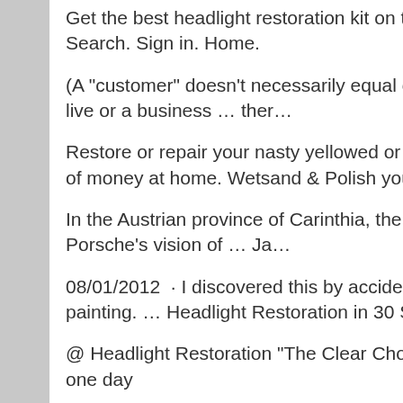Get the best headlight restoration kit on the market! Navigation: Main menu. Checkout (0 items). Search. Sign in. Home.
(A "customer" doesn't necessarily equal one person – it could include a home where several people live or a business … ther…
Restore or repair your nasty yellowed or yellow headlights quickly and easily without spending a lot of money at home. Wetsand & Polish your dingy sun…
In the Austrian province of Carinthia, the historical town of Gmund would become the home of Ferry Porsche's vision of … Ja…
08/01/2012  · I discovered this by accident as I was cleaning the fender area by the headlight for painting. … Headlight Restoration in 30 Sec … Home; Food; Play …
@ Headlight Restoration "The Clear Choice". I had someone restore the headlights on 2 of my cars one day